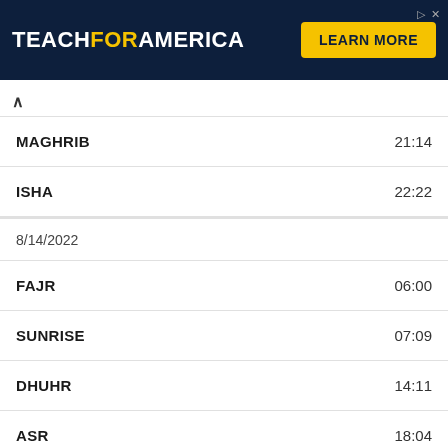[Figure (illustration): Teach For America advertisement banner with yellow 'LEARN MORE' button on dark navy background]
| Prayer | Time |
| --- | --- |
| MAGHRIB | 21:14 |
| ISHA | 22:22 |
| 8/14/2022 |  |
| FAJR | 06:00 |
| SUNRISE | 07:09 |
| DHUHR | 14:11 |
| ASR | 18:04 |
| SUNSET | 21:12 |
| MAGHRIB | 21:12 |